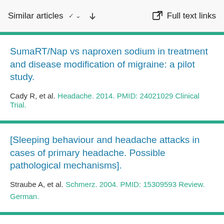Similar articles   Full text links
SumaRT/Nap vs naproxen sodium in treatment and disease modification of migraine: a pilot study.
Cady R, et al. Headache. 2014. PMID: 24021029 Clinical Trial.
[Sleeping behaviour and headache attacks in cases of primary headache. Possible pathological mechanisms].
Straube A, et al. Schmerz. 2004. PMID: 15309593 Review. German.
Influence of trigger factors on the efficacy of almotriptan as early intervention for the treatment of acute migraine in a primary care setting: the START study.